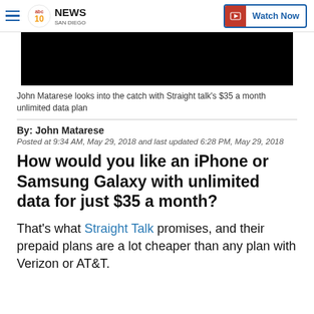ABC 10News San Diego — Watch Now
[Figure (photo): Black video player thumbnail]
John Matarese looks into the catch with Straight talk's $35 a month unlimited data plan
By: John Matarese
Posted at 9:34 AM, May 29, 2018 and last updated 6:28 PM, May 29, 2018
How would you like an iPhone or Samsung Galaxy with unlimited data for just $35 a month?
That's what Straight Talk promises, and their prepaid plans are a lot cheaper than any plan with Verizon or AT&T.